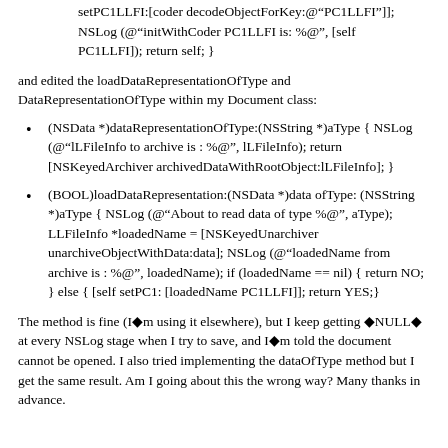setPC1LLFI:[coder decodeObjectForKey:@"PC1LLFI"]];
NSLog (@"initWithCoder PC1LLFI is: %@", [self PC1LLFI]); return self; }
and edited the loadDataRepresentationOfType and DataRepresentationOfType within my Document class:
(NSData *)dataRepresentationOfType:(NSString *)aType { NSLog (@"lLFileInfo to archive is : %@", lLFileInfo); return [NSKeyedArchiver archivedDataWithRootObject:lLFileInfo]; }
(BOOL)loadDataRepresentation:(NSData *)data ofType:(NSString *)aType { NSLog (@"About to read data of type %@", aType); LLFileInfo *loadedName = [NSKeyedUnarchiver unarchiveObjectWithData:data]; NSLog (@"loadedName from archive is : %@", loadedName); if (loadedName == nil) { return NO; } else { [self setPC1: [loadedName PC1LLFI]]; return YES;}
The method is fine (I�m using it elsewhere), but I keep getting �NULL� at every NSLog stage when I try to save, and I�m told the document cannot be opened. I also tried implementing the dataOfType method but I get the same result. Am I going about this the wrong way? Many thanks in advance.